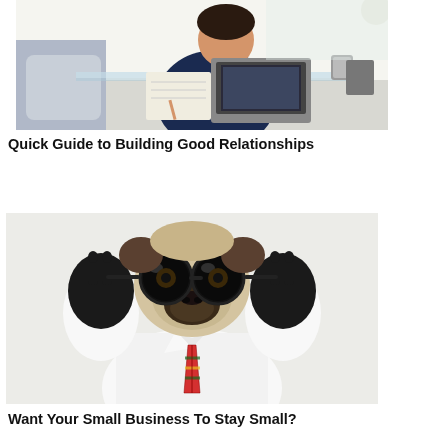[Figure (photo): A person sitting at a glass desk, working on a laptop and writing in a notebook, in a modern home office setting.]
Quick Guide to Building Good Relationships
[Figure (photo): A pug dog dressed in a white shirt and colorful plaid tie, wearing large round glasses and black gloves making peace signs with both hands.]
Want Your Small Business To Stay Small?